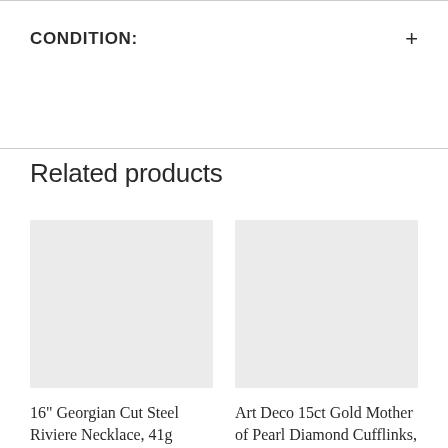CONDITION:
Related products
[Figure (other): Grey placeholder image for product: 16" Georgian Cut Steel Riviere Necklace, 41g]
16" Georgian Cut Steel Riviere Necklace, 41g £975.00
[Figure (other): Grey placeholder image for product: Art Deco 15ct Gold Mother of Pearl Diamond Cufflinks, 0.33ct Diamond]
Art Deco 15ct Gold Mother of Pearl Diamond Cufflinks, 0.33ct Diamond